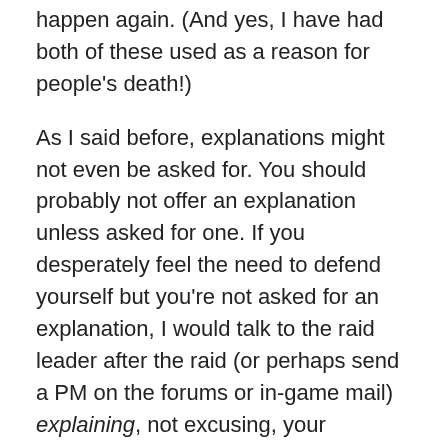happen again. (And yes, I have had both of these used as a reason for people's death!)
As I said before, explanations might not even be asked for. You should probably not offer an explanation unless asked for one. If you desperately feel the need to defend yourself but you're not asked for an explanation, I would talk to the raid leader after the raid (or perhaps send a PM on the forums or in-game mail) explaining, not excusing, your behaviour.
I learned about the difference between an excuse and an explanation back on Proudmoore, when I was raiding with a raid leader who was, and let's be fair to him, a complete douchecanoe. Imagine